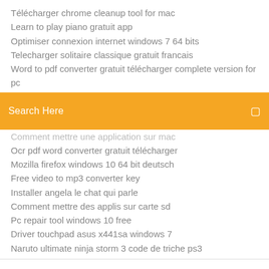Télécharger chrome cleanup tool for mac
Learn to play piano gratuit app
Optimiser connexion internet windows 7 64 bits
Telecharger solitaire classique gratuit francais
Word to pdf converter gratuit télécharger complete version for pc
[Figure (screenshot): Orange search bar with text 'Search Here' and a small icon on the right]
Comment mettre une application sur mac
Ocr pdf word converter gratuit télécharger
Mozilla firefox windows 10 64 bit deutsch
Free video to mp3 converter key
Installer angela le chat qui parle
Comment mettre des applis sur carte sd
Pc repair tool windows 10 free
Driver touchpad asus x441sa windows 7
Naruto ultimate ninja storm 3 code de triche ps3